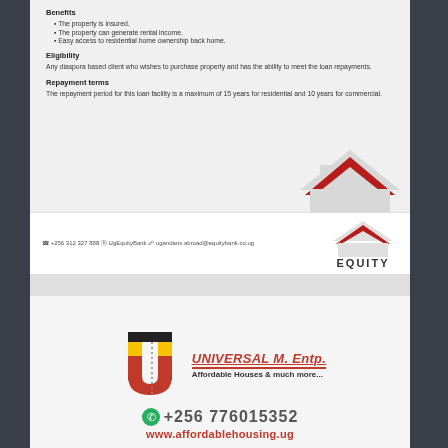Benefits
The property is insured.
The property can generate rental income.
Easy access to residential home ownership back home.
Eligibility
Any diaspora based client who wishes to purchase property and has the ability to meet the loan repayments.
Repayment terms
The repayment period for this loan facility is a maximum of 15 years for residential and 10 years for commercial.
[Figure (logo): Equity Bank logo with red house/chevron icon and EQUITY text]
+256 312 327 888
UgEquityBank
ugandans.abroad@equitybank.co.ug
[Figure (logo): Universal M. Entp. logo with U letter in Ugandan flag colors. Text: UNIVERSAL M. Entp. Affordable Houses & much more...]
+256 776015352
www.affordablehousing.ug